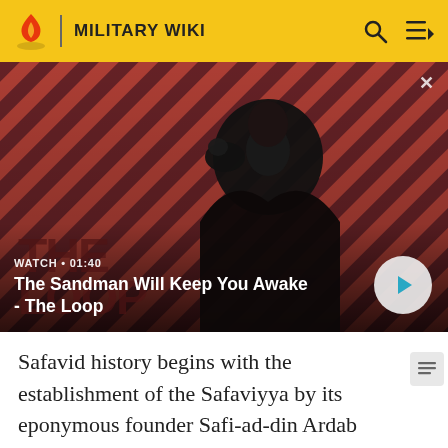MILITARY WIKI
[Figure (screenshot): Video banner with dark-cloaked figure with a raven on shoulder against red and black diagonal striped background. Shows 'WATCH • 01:40' label and title 'The Sandman Will Keep You Awake - The Loop' with a circular play button on the right.]
Safavid history begins with the establishment of the Safaviyya by its eponymous founder Safi-ad-din Ardab (1252–1334). In 700/1301, Safi al-Din assumed the leadership of the Zahediyeh, a significant Sufi order in Gilan, from his spiritual master and father-in-law Zahed